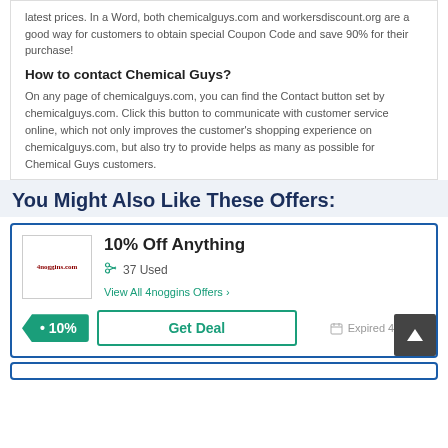latest prices. In a Word, both chemicalguys.com and workersdiscount.org are a good way for customers to obtain special Coupon Code and save 90% for their purchase!
How to contact Chemical Guys?
On any page of chemicalguys.com, you can find the Contact button set by chemicalguys.com. Click this button to communicate with customer service online, which not only improves the customer's shopping experience on chemicalguys.com, but also try to provide helps as many as possible for Chemical Guys customers.
You Might Also Like These Offers:
[Figure (infographic): Offer card for 4noggins.com showing 10% Off Anything, 37 Used, View All 4noggins Offers link, Get Deal button, and Expired 4-12-22 date, with teal percentage badge showing 10%]